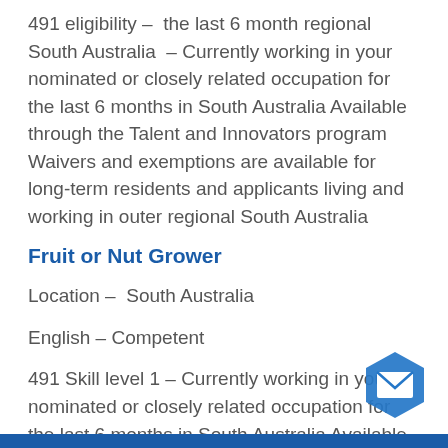491 eligibility – the last 6 month regional South Australia – Currently working in your nominated or closely related occupation for the last 6 months in South Australia Available through the Talent and Innovators program Waivers and exemptions are available for long-term residents and applicants living and working in outer regional South Australia
Fruit or Nut Grower
Location – South Australia
English – Competent
491 Skill level 1 – Currently working in your nominated or closely related occupation for the last 6 months in South Australia Available through the Talent and Innovators program Waivers and